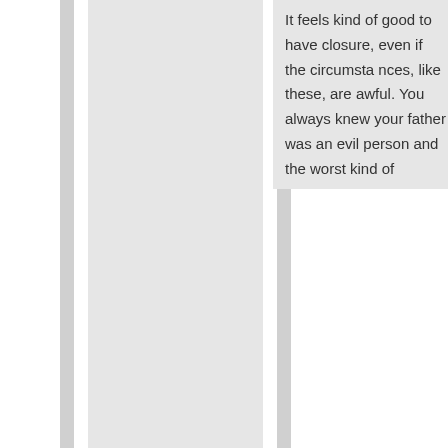It feels kind of good to have closure, even if the circumstances, like these, are awful. You always knew your father was an evil person and the worst kind of
Advertisements
[Figure (photo): Victoria's Secret advertisement banner with a woman's face, VS logo, 'SHOP THE COLLECTION' text, and 'SHOP NOW' button]